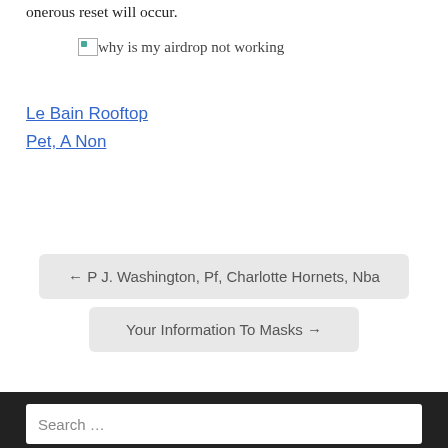onerous reset will occur.
[Figure (photo): Broken image placeholder with alt text 'why is my airdrop not working']
Le Bain Rooftop
Pet, A Non
← P J. Washington, Pf, Charlotte Hornets, Nba
Your Information To Masks →
Search …